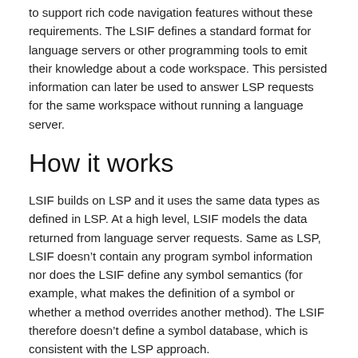to support rich code navigation features without these requirements. The LSIF defines a standard format for language servers or other programming tools to emit their knowledge about a code workspace. This persisted information can later be used to answer LSP requests for the same workspace without running a language server.
How it works
LSIF builds on LSP and it uses the same data types as defined in LSP. At a high level, LSIF models the data returned from language server requests. Same as LSP, LSIF doesn’t contain any program symbol information nor does the LSIF define any symbol semantics (for example, what makes the definition of a symbol or whether a method overrides another method). The LSIF therefore doesn’t define a symbol database, which is consistent with the LSP approach.
Using the existing LSP data types as the base for LSIF has another advantage as LSIF can easily be integrated into tools or